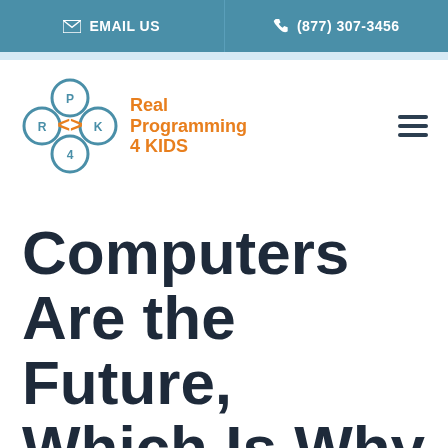EMAIL US | (877) 307-3456
[Figure (logo): Real Programming 4 Kids logo with interlocking circles and orange code brackets]
Computers Are the Future, Which Is Why Your Children